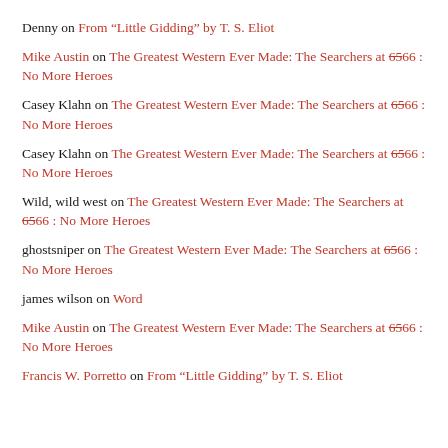Denny on From “Little Gidding” by T. S. Eliot
Mike Austin on The Greatest Western Ever Made: The Searchers at 65-66 : No More Heroes
Casey Klahn on The Greatest Western Ever Made: The Searchers at 65-66 : No More Heroes
Casey Klahn on The Greatest Western Ever Made: The Searchers at 65-66 : No More Heroes
Wild, wild west on The Greatest Western Ever Made: The Searchers at 65-66 : No More Heroes
ghostsniper on The Greatest Western Ever Made: The Searchers at 65-66 : No More Heroes
james wilson on Word
Mike Austin on The Greatest Western Ever Made: The Searchers at 65-66 : No More Heroes
Francis W. Porretto on From “Little Gidding” by T. S. Eliot